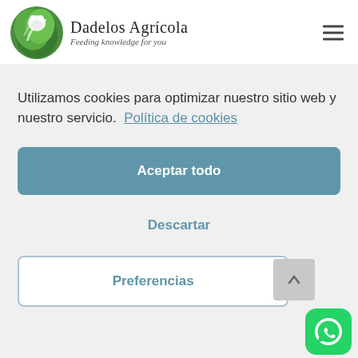[Figure (logo): Dadelos Agrícola logo with green leaf/bear circular icon and brand name 'Dadelos Agrícola' with tagline 'Feeding knowledge for you']
Utilizamos cookies para optimizar nuestro sitio web y nuestro servicio.  Política de cookies
Aceptar todo
Descartar
Preferencias
[Figure (logo): WhatsApp green rounded square button icon in bottom right corner]